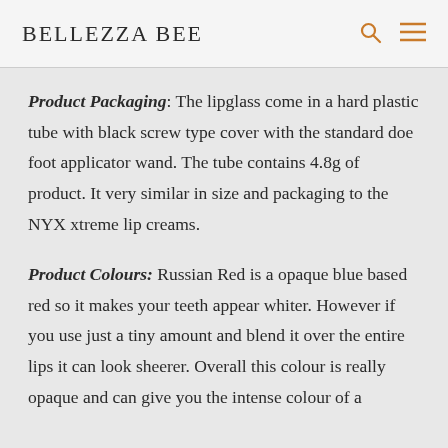BELLEZZA BEE
Product Packaging: The lipglass come in a hard plastic tube with black screw type cover with the standard doe foot applicator wand. The tube contains 4.8g of product. It very similar in size and packaging to the NYX xtreme lip creams.
Product Colours: Russian Red is a opaque blue based red so it makes your teeth appear whiter. However if you use just a tiny amount and blend it over the entire lips it can look sheerer. Overall this colour is really opaque and can give you the intense colour of a